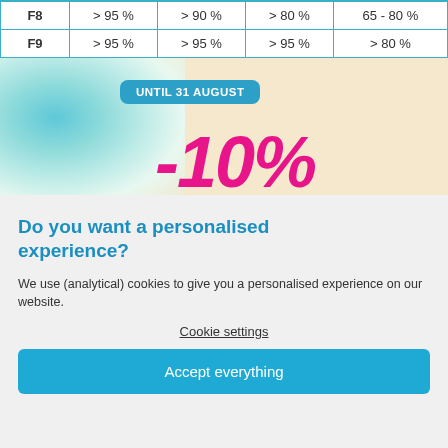|  |  |  |  |  |
| --- | --- | --- | --- | --- |
| F8 | > 95 % | > 90 % | > 80 % | 65 - 80 % |
| F9 | > 95 % | > 95 % | > 95 % | > 80 % |
[Figure (infographic): Promotional banner with ocean/beach background showing 'UNTIL 31 AUGUST' badge and '-10%' discount in large pink italic text]
Do you want a personalised experience?
We use (analytical) cookies to give you a personalised experience on our website.
Cookie settings
Accept everything